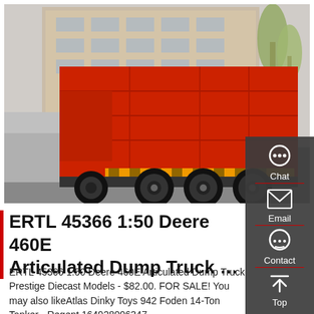[Figure (photo): Red articulated dump truck / heavy-duty tipper truck parked on a road in front of a large building, viewed from rear-left angle. Trees visible on right side.]
ERTL 45366 1:50 Deere 460E Articulated Dump Truck …
ERTL 45366 1:50 Deere 460E Articulated Dump Truck Prestige Diecast Models - $82.00. FOR SALE! You may also likeAtlas Dinky Toys 942 Foden 14-Ton Tanker - Regent 164928006347